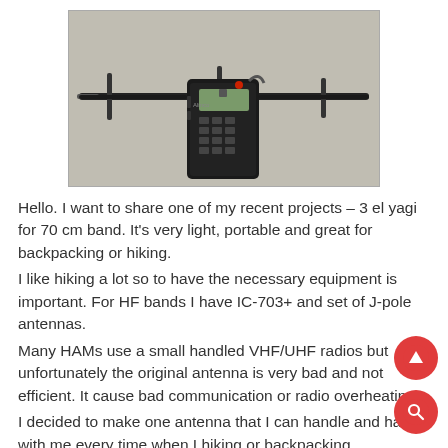[Figure (photo): A handheld VHF/UHF radio (walkie-talkie) with a horizontal yagi antenna attached, lying on a gray surface. The antenna extends horizontally to both sides of the radio.]
Hello. I want to share one of my recent projects – 3 el yagi for 70 cm band. It's very light, portable and great for backpacking or hiking.
I like hiking a lot so to have the necessary equipment is important. For HF bands I have IC-703+ and set of J-pole antennas.
Many HAMs use a small handled VHF/UHF radios but unfortunately the original antenna is very bad and not efficient. It cause bad communication or radio overheating.
I decided to make one antenna that I can handle and have with me every time when I hiking or backpacking.
The antenna should be: